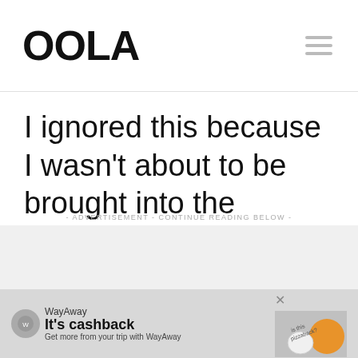OOLA
I ignored this because I wasn't about to be brought into the drama.
- ADVERTISEMENT - CONTINUE READING BELOW -
[Figure (screenshot): WayAway advertisement banner: 'It's cashback - Get more from your trip with WayAway']